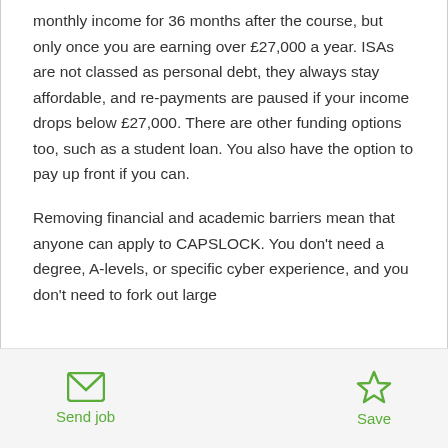monthly income for 36 months after the course, but only once you are earning over £27,000 a year. ISAs are not classed as personal debt, they always stay affordable, and re-payments are paused if your income drops below £27,000. There are other funding options too, such as a student loan. You also have the option to pay up front if you can.

Removing financial and academic barriers mean that anyone can apply to CAPSLOCK. You don't need a degree, A-levels, or specific cyber experience, and you don't need to fork out large
Send job   Save